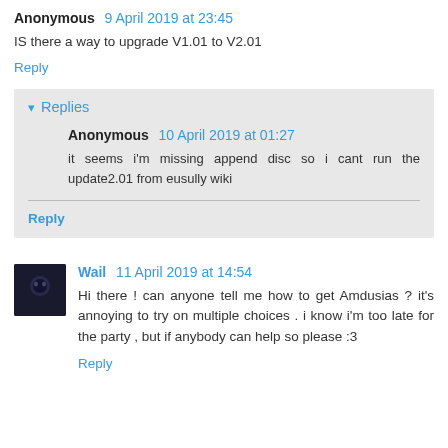Anonymous 9 April 2019 at 23:45
IS there a way to upgrade V1.01 to V2.01
Reply
Replies
Anonymous 10 April 2019 at 01:27
it seems i'm missing append disc so i cant run the update2.01 from eusully wiki
Reply
Wail 11 April 2019 at 14:54
Hi there ! can anyone tell me how to get Amdusias ? it's annoying to try on multiple choices . i know i'm too late for the party , but if anybody can help so please :3
Reply